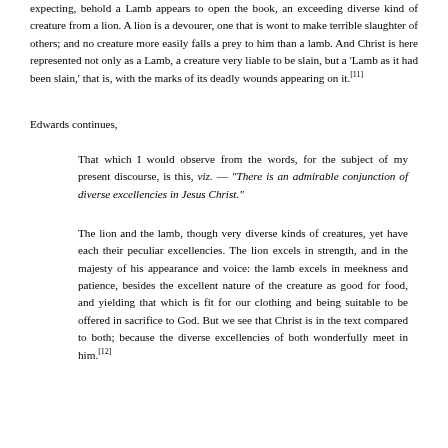expecting, behold a Lamb appears to open the book, an exceeding diverse kind of creature from a lion. A lion is a devourer, one that is wont to make terrible slaughter of others; and no creature more easily falls a prey to him than a lamb. And Christ is here represented not only as a Lamb, a creature very liable to be slain, but a 'Lamb as it had been slain,' that is, with the marks of its deadly wounds appearing on it.[11]
Edwards continues,
That which I would observe from the words, for the subject of my present discourse, is this, viz. — "There is an admirable conjunction of diverse excellencies in Jesus Christ."
The lion and the lamb, though very diverse kinds of creatures, yet have each their peculiar excellencies. The lion excels in strength, and in the majesty of his appearance and voice: the lamb excels in meekness and patience, besides the excellent nature of the creature as good for food, and yielding that which is fit for our clothing and being suitable to be offered in sacrifice to God. But we see that Christ is in the text compared to both; because the diverse excellencies of both wonderfully meet in him.[12]